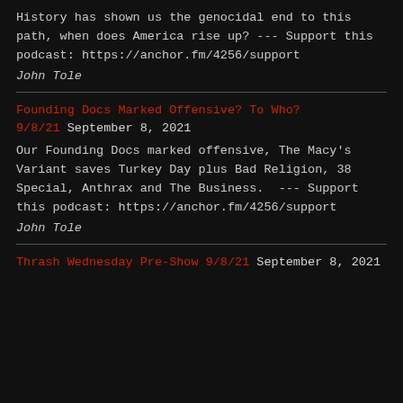History has shown us the genocidal end to this path, when does America rise up? --- Support this podcast: https://anchor.fm/4256/support
John Tole
Founding Docs Marked Offensive? To Who?
9/8/21 September 8, 2021
Our Founding Docs marked offensive, The Macy's Variant saves Turkey Day plus Bad Religion, 38 Special, Anthrax and The Business.  --- Support this podcast: https://anchor.fm/4256/support
John Tole
Thrash Wednesday Pre-Show 9/8/21 September 8, 2021